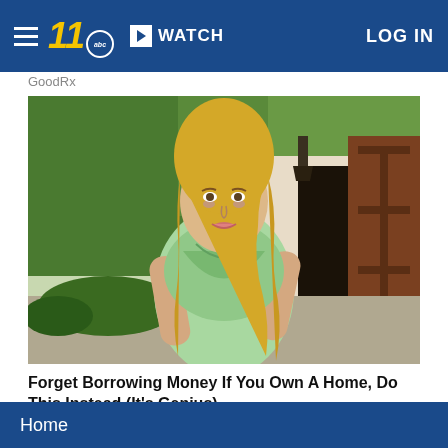WATCH  LOG IN
GoodRx
[Figure (photo): Young woman with long wavy blonde hair wearing a mint green top, standing outside near a wooden gate with trees in the background]
Forget Borrowing Money If You Own A Home, Do This Instead (It's Genius)
Lendgo
Home